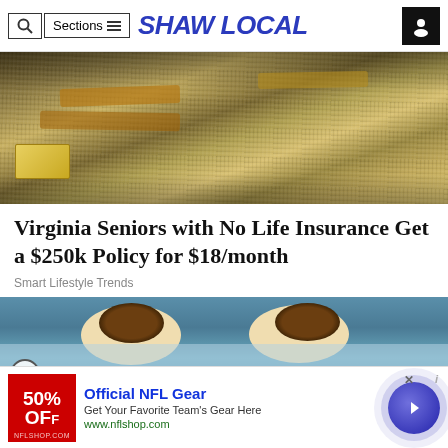SHAW LOCAL
[Figure (photo): Photo of stacked bundles of US dollar bills/money]
Virginia Seniors with No Life Insurance Get a $250k Policy for $18/month
Smart Lifestyle Trends
[Figure (photo): Close-up photo of a person's eyes with blue face mask/cream]
[Figure (photo): Advertisement banner: Official NFL Gear - Get Your Favorite Team's Gear Here - www.nflshop.com - 50% OFF]